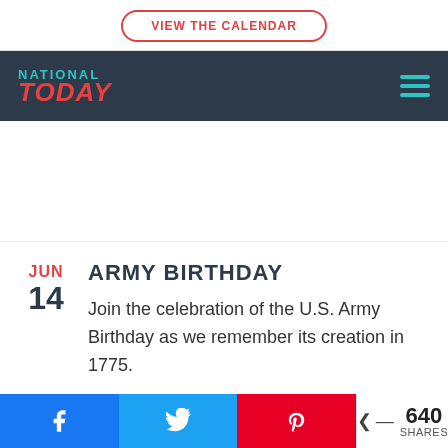VIEW THE CALENDAR
NATIONAL TODAY
ARMY BIRTHDAY
Join the celebration of the U.S. Army Birthday as we remember its creation in 1775.
640 SHARES